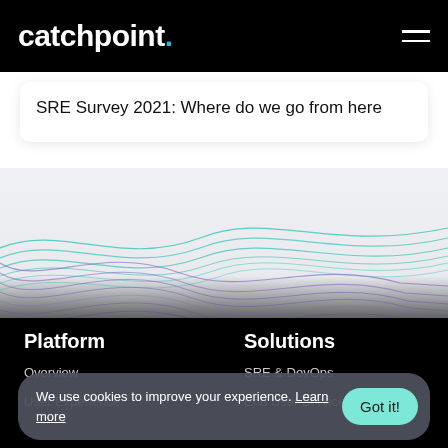catchpoint.
SRE Survey 2021: Where do we go from here
[Figure (illustration): Decorative wave graphic with teal and purple flowing lines on a light grey background transitioning to black]
Platform
Solutions
Overview
SRE & DevOps
User Experience
End User Services
We use cookies to improve your experience. Learn more
Got it!